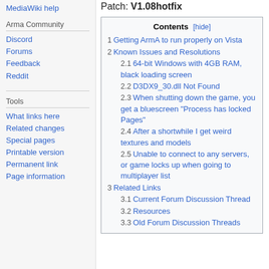MediaWiki help
Arma Community
Discord
Forums
Feedback
Reddit
Tools
What links here
Related changes
Special pages
Printable version
Permanent link
Page information
Patch: V1.08hotfix
| Contents [hide] |
| --- |
| 1 Getting ArmA to run properly on Vista |
| 2 Known Issues and Resolutions |
| 2.1 64-bit Windows with 4GB RAM, black loading screen |
| 2.2 D3DX9_30.dll Not Found |
| 2.3 When shutting down the game, you get a bluescreen "Process has locked Pages" |
| 2.4 After a shortwhile I get weird textures and models |
| 2.5 Unable to connect to any servers, or game locks up when going to multiplayer list |
| 3 Related Links |
| 3.1 Current Forum Discussion Thread |
| 3.2 Resources |
| 3.3 Old Forum Discussion Threads |